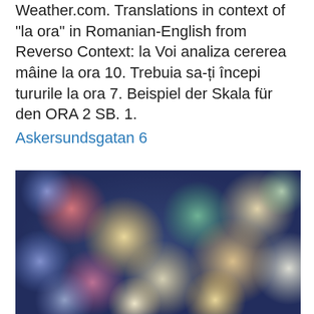Weather.com. Translations in context of "la ora" in Romanian-English from Reverso Context: la Voi analiza cererea mâine la ora 10. Trebuia sa-ți începi tururile la ora 7. Beispiel der Skala für den ORA 2 SB. 1.
Askersundsgatan 6
[Figure (photo): Blurred bokeh photo with colorful out-of-focus circles in shades of blue, pink, red, green, yellow, and white against a dark background.]